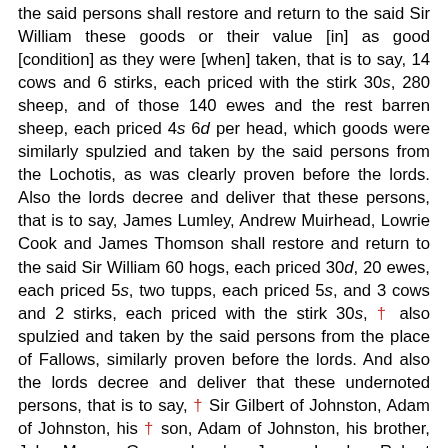the said persons shall restore and return to the said Sir William these goods or their value [in] as good [condition] as they were [when] taken, that is to say, 14 cows and 6 stirks, each priced with the stirk 30s, 280 sheep, and of those 140 ewes and the rest barren sheep, each priced 4s 6d per head, which goods were similarly spulzied and taken by the said persons from the Lochotis, as was clearly proven before the lords. Also the lords decree and deliver that these persons, that is to say, James Lumley, Andrew Muirhead, Lowrie Cook and James Thomson shall restore and return to the said Sir William 60 hogs, each priced 30d, 20 ewes, each priced 5s, two tupps, each priced 5s, and 3 cows and 2 stirks, each priced with the stirk 30s, † also spulzied and taken by the said persons from the place of Fallows, similarly proven before the lords. And also the lords decree and deliver that these undernoted persons, that is to say, †Sir Gilbert of Johnston, Adam of Johnston, his † son, Adam of Johnston, his brother, John Mason, George Lumley, James Lumley, Robert Lauder, John Heriot, Andrew Watson, James Lam, and Dave Frebarne,